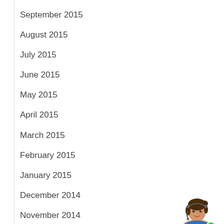September 2015
August 2015
July 2015
June 2015
May 2015
April 2015
March 2015
February 2015
January 2015
December 2014
November 2014
October 2014
September 2014
August 2014
July 2014
[Figure (other): Chat widget with close button (x), speech bubble saying 'Need some assistance?', and a customer service representative avatar with a green online indicator dot]